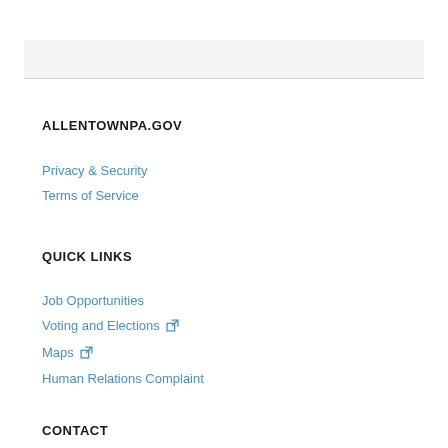ALLENTOWNPA.GOV
Privacy & Security
Terms of Service
QUICK LINKS
Job Opportunities
Voting and Elections
Maps
Human Relations Complaint
CONTACT